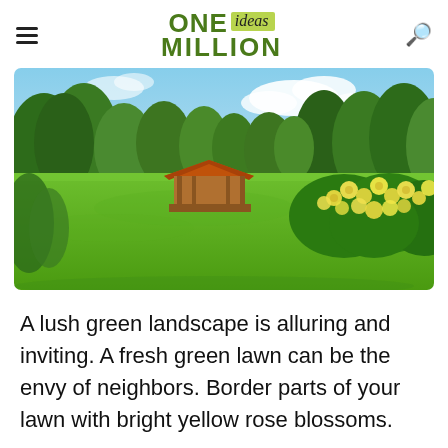ONE ideas MILLION
[Figure (photo): A lush garden with a wide green lawn, a small wooden gazebo with an orange roof in the background, tall green trees, and a border of bright yellow rose blossoms on the right side under a partly cloudy blue sky.]
A lush green landscape is alluring and inviting. A fresh green lawn can be the envy of neighbors. Border parts of your lawn with bright yellow rose blossoms.